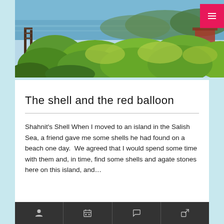[Figure (photo): Coastal landscape photo showing a bay or inlet with blue water, a pier/dock structure on the left, dense green foliage and bushes in the foreground and middle ground, with trees in the background. A small pink/red menu button is in the upper right corner.]
The shell and the red balloon
Shahnit's Shell When I moved to an island in the Salish Sea, a friend gave me some shells he had found on a beach one day.  We agreed that I would spend some time with them and, in time, find some shells and agate stones here on this island, and…